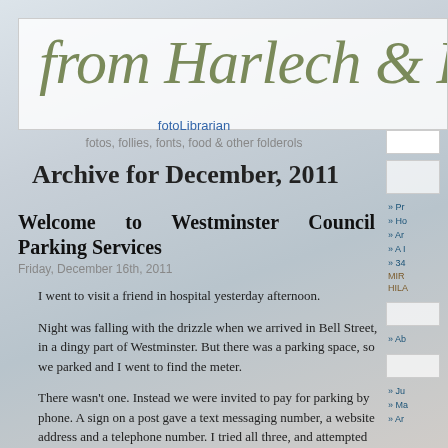from Harlech & Lo…
fotoLibrarian
fotos, follies, fonts, food & other folderols
Archive for December, 2011
Welcome to Westminster Council Parking Services
Friday, December 16th, 2011
I went to visit a friend in hospital yesterday afternoon.
Night was falling with the drizzle when we arrived in Bell Street, in a dingy part of Westminster. But there was a parking space, so we parked and I went to find the meter.
There wasn't one. Instead we were invited to pay for parking by phone. A sign on a post gave a text messaging number, a website address and a telephone number. I tried all three, and attempted